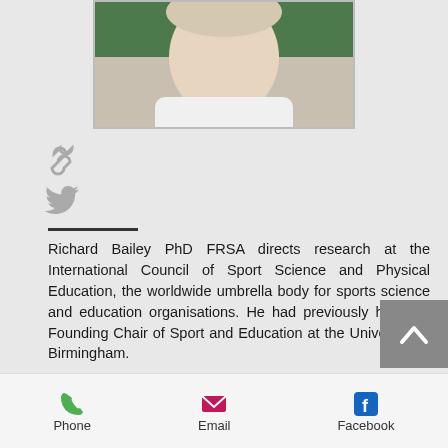[Figure (photo): Partial headshot of a person wearing a white top, with a green background, cropped at the top]
[Figure (other): Link chain icon (gray)]
[Figure (other): Twitter bird icon (gray)]
Richard Bailey PhD FRSA directs research at the International Council of Sport Science and Physical Education, the worldwide umbrella body for sports science and education organisations. He had previously held the Founding Chair of Sport and Education at the University of Birmingham.
Richard has studied Physical Education, Fashion...
[Figure (other): Back to top button (gray square with white up-arrow chevron)]
Phone   Email   Facebook